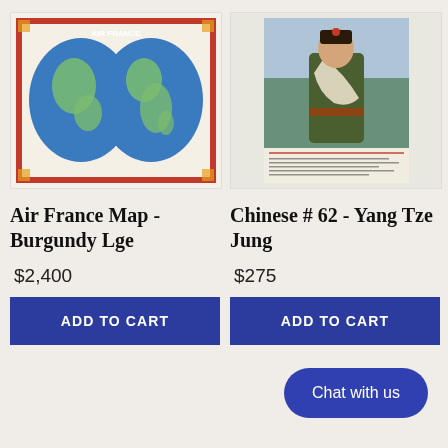[Figure (photo): Air France Map - double hemisphere world map with decorative red border, vintage poster style]
[Figure (photo): Chinese #62 - Yang Tze Jung - Chinese opera/cultural poster showing a figure in military costume with text in Chinese]
Air France Map - Burgundy Lge
$2,400
ADD TO CART
Chinese # 62 - Yang Tze Jung
$275
ADD TO CART
Chat with us